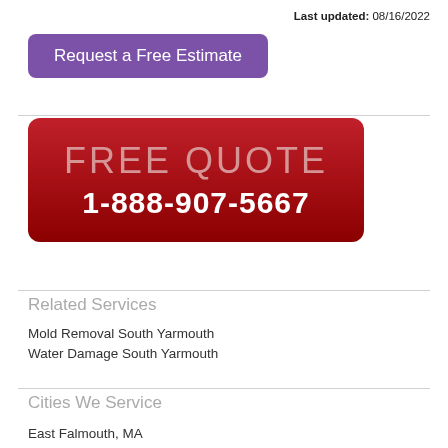Last updated: 08/16/2022
[Figure (other): Purple rounded button labeled 'Request a Free Estimate']
[Figure (other): Dark red rounded rectangle banner with text 'FREE QUOTE' and phone number '1-888-907-5667']
Related Services
Mold Removal South Yarmouth
Water Damage South Yarmouth
Cities We Service
East Falmouth, MA